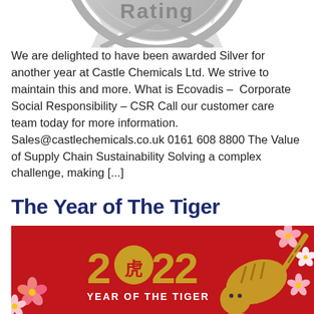[Figure (illustration): Bottom half of a silver medal or badge with text 'Rating' visible at the top edge, metallic silver circular shape with ribbon/chevron detail]
We are delighted to have been awarded Silver for another year at Castle Chemicals Ltd. We strive to maintain this and more. What is Ecovadis –  Corporate Social Responsibility – CSR Call our customer care team today for more information.   Sales@castlechemicals.co.uk 0161 608 8800 The Value of Supply Chain Sustainability Solving a complex challenge, making [...]
The Year of The Tiger
[Figure (illustration): Red decorative illustration for Chinese New Year 2022 Year of the Tiger, showing golden text '2022' with tiger character, a golden tiger, pink and white cherry blossom flowers on red background with text 'YEAR OF THE TIGER']